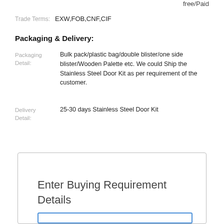free/Paid
Trade Terms: EXW,FOB,CNF,CIF
Packaging & Delivery:
Packaging Detail: Bulk pack/plastic bag/double blister/one side blister/Wooden Palette etc. We could Ship the Stainless Steel Door Kit as per requirement of the customer.
Delivery Detail: 25-30 days Stainless Steel Door Kit
Enter Buying Requirement Details